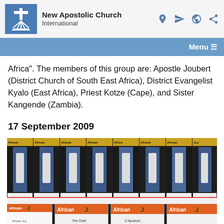New Apostolic Church International
Africa". The members of this group are: Apostle Joubert (District Church of South East Africa), District Evangelist Kyalo (East Africa), Priest Kotze (Cape), and Sister Kangende (Zambia).
17 September 2009
[Figure (photo): Photo of multiple copies of African Joy magazine issues displayed, with people standing behind them and bottom row showing African Joy magazine covers with The Chief and O Apostolo titles visible.]